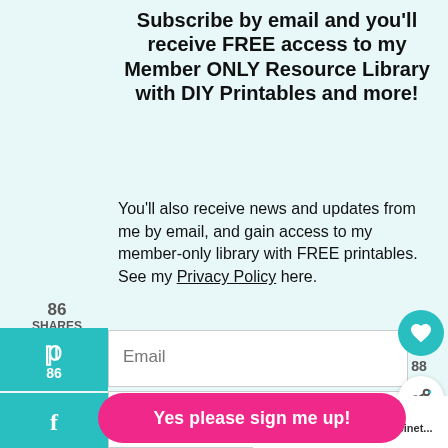Subscribe by email and you'll receive FREE access to my Member ONLY Resource Library with DIY Printables and more!
You'll also receive news and updates from me by email, and gain access to my member-only library with FREE printables. See my Privacy Policy here.
[Figure (other): Social share sidebar with Pinterest (teal button, 86) and Facebook (teal button) icons]
86 SHARES
Email (form input field)
First Name (form input field)
Yes please sign me up! (submit button)
[Figure (other): Right-side floating action buttons: heart icon (teal circle), count 88, share icon (white circle)]
88
[Figure (other): What's Next promo box with kitchen china cabinet image and text]